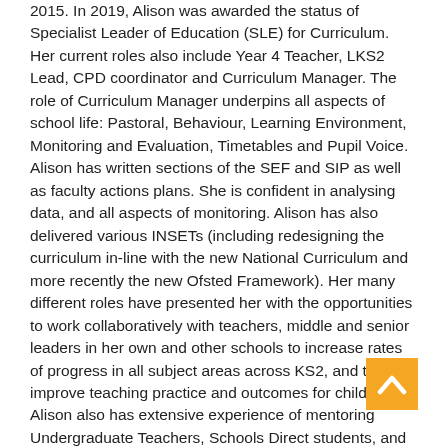2015. In 2019, Alison was awarded the status of Specialist Leader of Education (SLE) for Curriculum. Her current roles also include Year 4 Teacher, LKS2 Lead, CPD coordinator and Curriculum Manager. The role of Curriculum Manager underpins all aspects of school life: Pastoral, Behaviour, Learning Environment, Monitoring and Evaluation, Timetables and Pupil Voice. Alison has written sections of the SEF and SIP as well as faculty actions plans. She is confident in analysing data, and all aspects of monitoring. Alison has also delivered various INSETs (including redesigning the curriculum in-line with the new National Curriculum and more recently the new Ofsted Framework). Her many different roles have presented her with the opportunities to work collaboratively with teachers, middle and senior leaders in her own and other schools to increase rates of progress in all subject areas across KS2, and to improve teaching practice and outcomes for children. Alison also has extensive experience of mentoring Undergraduate Teachers, Schools Direct students, and Newly Qualified Teachers.
[Figure (other): Back to top button — amber/orange square with a white upward chevron arrow.]